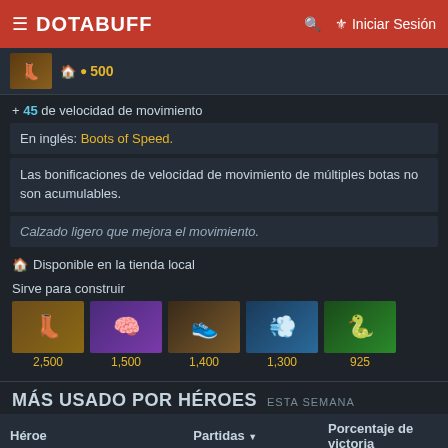DOTABUFF — Iniciar Sesión
500
+ 45 de velocidad de movimiento
En inglés: Boots of Speed.
Las bonificaciones de velocidad de movimiento de múltiples botas no son acumulables.
Calzado ligero que mejora el movimiento.
Disponible en la tienda local
Sirve para construir
[Figure (illustration): Five item icons with prices: 2,500 / 1,500 / 1,400 / 1,300 / 925]
MÁS USADO POR HÉROES ESTA SEMANA
| Héroe | Partidas | Porcentaje de victoria |
| --- | --- | --- |
| Windranger | 134,054 | 38.77% |
| Zeus | 132,525 | 42.38% |